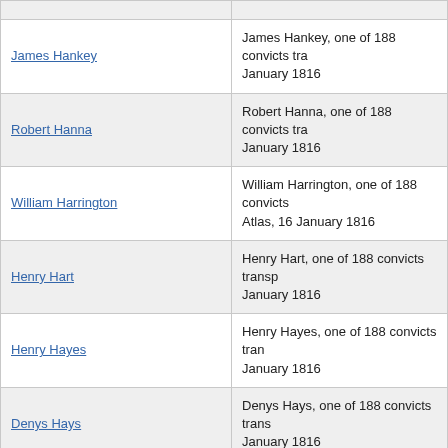| Name | Description |
| --- | --- |
| James Hankey | James Hankey, one of 188 convicts tra... January 1816 |
| Robert Hanna | Robert Hanna, one of 188 convicts tra... January 1816 |
| William Harrington | William Harrington, one of 188 convicts... Atlas, 16 January 1816 |
| Henry Hart | Henry Hart, one of 188 convicts transp... January 1816 |
| Henry Hayes | Henry Hayes, one of 188 convicts tran... January 1816 |
| Denys Hays | Denys Hays, one of 188 convicts trans... January 1816 |
| George Heeland | George Heeland, one of 188 convicts t... 16 January 1816 |
| William Henson | William Henson, one of 188 convicts tr... 16 January 1816 |
| James Hewett | James Hewett, one of 188 convicts tra... January 1816 |
| William James Hewitt | William James Hewitt, one of 188 conv... Atlas, 16 January 1816 |
| Samuel Higgins | Samuel Higgins, one of 188 convicts tr... 16 January 1816 |
| George Hodges | George Hodges, one of 188 convicts... |